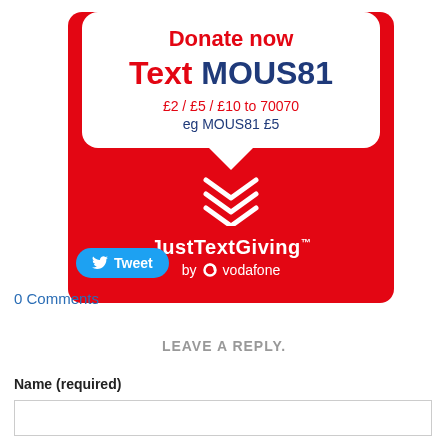[Figure (infographic): JustTextGiving donation banner on red background. White speech bubble contains 'Donate now' in red bold, 'Text MOUS81' in large text (red and dark blue), '£2 / £5 / £10 to 70070' in red, 'eg MOUS81 £5' in dark blue. Below speech bubble white chevron arrows pointing down. Bottom shows 'JustTextGiving by Vodafone' branding in white on red.]
Tweet
0 Comments
LEAVE A REPLY.
Name (required)